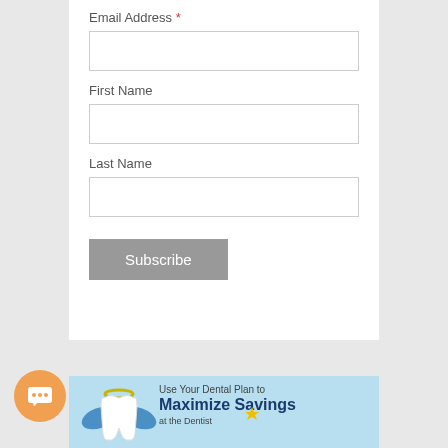Email Address *
First Name
Last Name
Subscribe
[Figure (illustration): Dental plan banner with tooth angel character (white tooth with blue wings and yellow halo) on light blue background. Text reads: Use Your Dental Plan to Maximize Savings at the Dentist]
[Figure (illustration): Orange circular chat/comment bubble icon in bottom left corner]